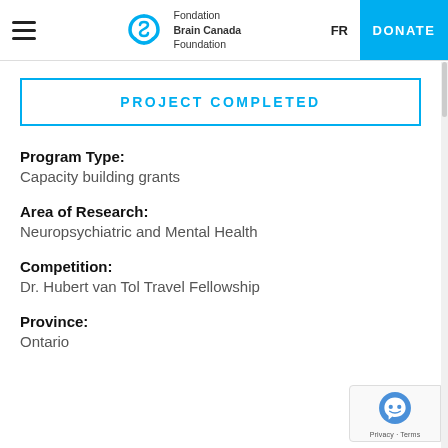Fondation Brain Canada Foundation — FR — DONATE
PROJECT COMPLETED
Program Type:
Capacity building grants
Area of Research:
Neuropsychiatric and Mental Health
Competition:
Dr. Hubert van Tol Travel Fellowship
Province:
Ontario